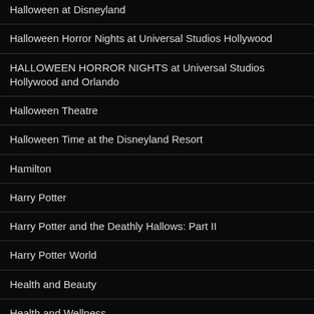Halloween at Disneyland
Halloween Horror Nights at Universal Studios Hollywood
HALLOWEEN HORROR NIGHTS at Universal Studios Hollywood and Orlando
Halloween Theatre
Halloween Time at the Disneyland Resort
Hamilton
Harry Potter
Harry Potter and the Deathly Hallows: Part II
Harry Potter World
Health and Beauty
Health and Wellness
Help Universal CityWalk Inaugurate its All-New State-of-the-Art Universal Cinema